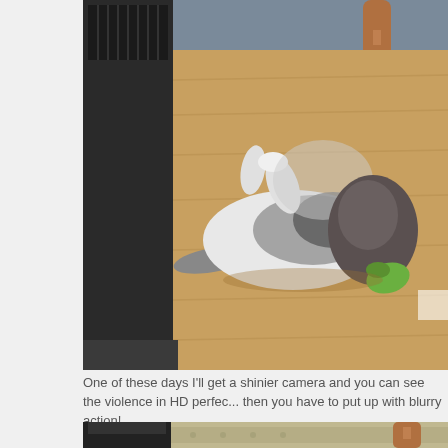[Figure (photo): A fluffy long-haired cat lying on a hardwood floor, playing with a green toy. In the background is a fireplace with a black surround and wooden chair legs on a rug.]
One of these days I'll get a shinier camera and you can see the violence in HD perfec... then you have to put up with blurry action!
[Figure (photo): Partial view of a room showing the bottom of a black fireplace surround, a patterned rug, and wooden chair legs.]